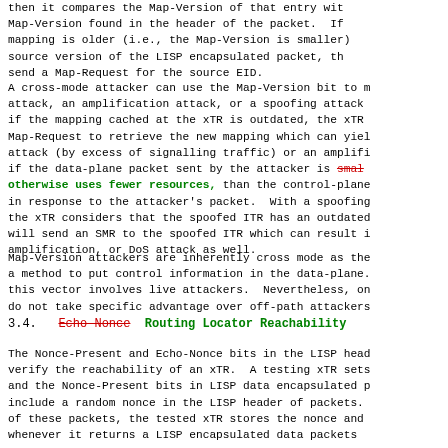then it compares the Map-Version of that entry with the Map-Version found in the header of the packet. If the mapping is older (i.e., the Map-Version is smaller) than the source version of the LISP encapsulated packet, the xTR will send a Map-Request for the source EID.
A cross-mode attacker can use the Map-Version bit to mount an attack, an amplification attack, or a spoofing attack. Indeed, if the mapping cached at the xTR is outdated, the xTR sends a Map-Request to retrieve the new mapping which can yield a DoS attack (by excess of signalling traffic) or an amplification if the data-plane packet sent by the attacker is [strikethrough: smaller] [green-bold: otherwise uses fewer resources,] than the control-plane message in response to the attacker's packet. With a spoofing attack, the xTR considers that the spoofed ITR has an outdated mapping and will send an SMR to the spoofed ITR which can result in a DoS, amplification, or DoS attack as well.
Map-Version attackers are inherently cross mode as they provide a method to put control information in the data-plane. Using this vector involves live attackers. Nevertheless, on-path attackers do not take specific advantage over off-path attackers.
3.4. Echo-Nonce Routing Locator Reachability
The Nonce-Present and Echo-Nonce bits in the LISP header are used to verify the reachability of an xTR. A testing xTR sets the Echo-Nonce and the Nonce-Present bits in LISP data encapsulated packets, and include a random nonce in the LISP header of packets. Upon reception of these packets, the tested xTR stores the nonce and whenever it returns a LISP encapsulated data packets...